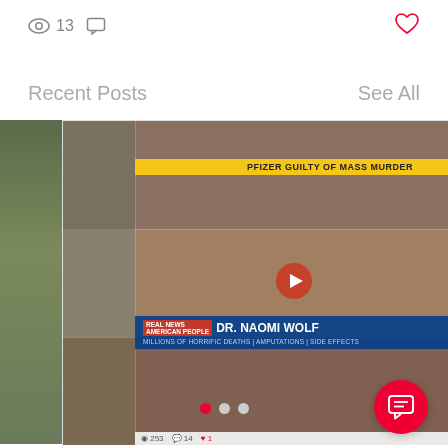13 views, comments icon, heart icon
Recent Posts
See All
[Figure (screenshot): Social media post card showing a video thumbnail with 'PFIZER GUILTY OF MASS MURDER' banner, Dr. Naomi Wolf video collage, with engagement stats: 253 views, 14 comments, 1 heart]
GENOCIDE CONFIRMED-BRITISH COLUMBIA...
109 views  0 comments  1 heart